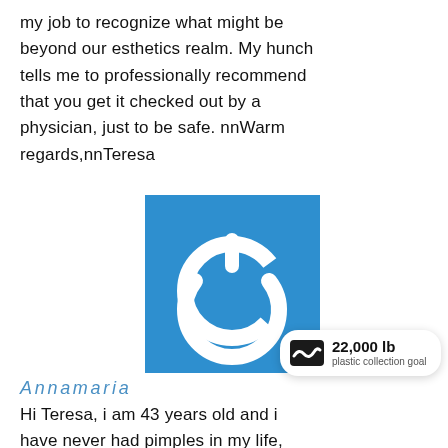my job to recognize what might be beyond our esthetics realm. My hunch tells me to professionally recommend that you get it checked out by a physician, just to be safe. nnWarm regards,nnTeresa
[Figure (logo): Blue square with white power button icon (circle with a vertical line at top)]
22,000 lb plastic collection goal
Annamaria
Hi Teresa, i am 43 years old and i have never had pimples in my life, even when i was a teenager.... until